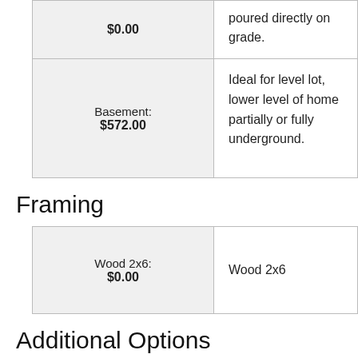| $0.00 | poured directly on grade. |
| Basement:
$572.00 | Ideal for level lot, lower level of home partially or fully underground. |
Framing
| Wood 2x6:
$0.00 | Wood 2x6 |
Additional Options
| Right-Reading Reverse :
$125.00 | Choose this option to reverse your plans and to have the text readable |